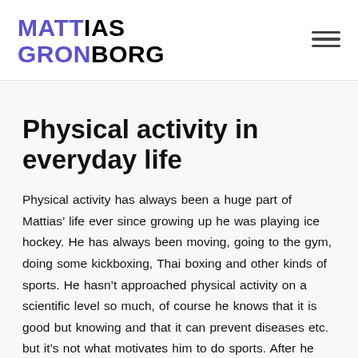MATTIAS GRONBORG
Physical activity in everyday life
Physical activity has always been a huge part of Mattias’ life ever since growing up he was playing ice hockey. He has always been moving, going to the gym, doing some kickboxing, Thai boxing and other kinds of sports. He hasn’t approached physical activity on a scientific level so much, of course he knows that it is good but knowing and that it can prevent diseases etc. but it’s not what motivates him to do sports. After he stopped playing hockey he says he exercised more